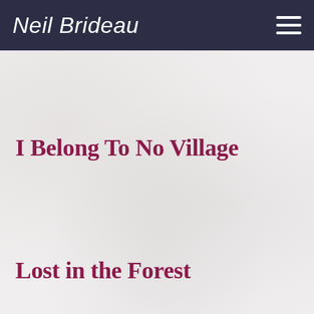Neil Brideau
I Belong To No Village
Lost in the Forest